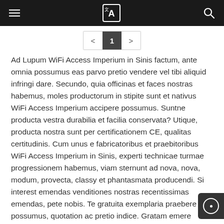Navigation bar with menu, logo, and search icons
< 1 >
Ad Lupum WiFi Access Imperium in Sinis factum, ante omnia possumus eas parvo pretio vendere vel tibi aliquid infringi dare. Secundo, quia officinas et faces nostras habemus, moles productorum in stipite sunt et nativus WiFi Access Imperium accipere possumus. Suntne producta vestra durabilia et facilia conservata? Utique, producta nostra sunt per certificationem CE, qualitas certitudinis. Cum unus e fabricatoribus et praebitoribus WiFi Access Imperium in Sinis, experti technicae turmae progressionem habemus, viam sternunt ad nova, nova, modum, provecta, classy et phantasmata producendi. Si interest emendas venditiones nostras recentissimas emendas, pete nobis. Te gratuita exemplaria praebere possumus, quotation ac pretio indice. Gratam emere products. Pretia nostra producta vilissima sunt.